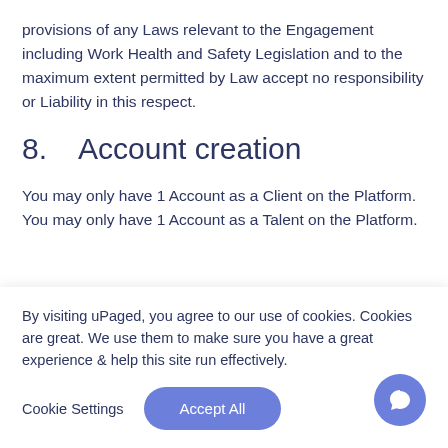provisions of any Laws relevant to the Engagement including Work Health and Safety Legislation and to the maximum extent permitted by Law accept no responsibility or Liability in this respect.
8.      Account creation
You may only have 1 Account as a Client on the Platform. You may only have 1 Account as a Talent on the Platform.
By visiting uPaged, you agree to our use of cookies. Cookies are great. We use them to make sure you have a great experience & help this site run effectively.